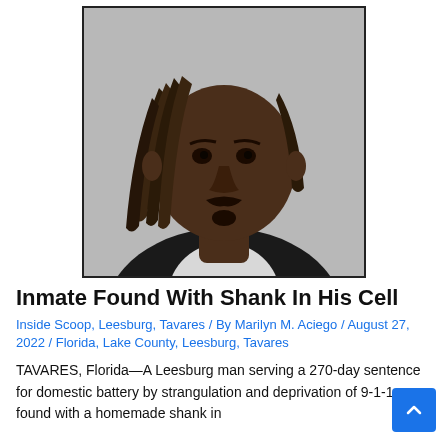[Figure (photo): Mugshot photo of a young Black man with dreadlocks, wearing a white collared shirt under a dark hoodie, against a light gray background.]
Inmate Found With Shank In His Cell
Inside Scoop, Leesburg, Tavares / By Marilyn M. Aciego / August 27, 2022 / Florida, Lake County, Leesburg, Tavares
TAVARES, Florida—A Leesburg man serving a 270-day sentence for domestic battery by strangulation and deprivation of 9-1-1 was found with a homemade shank in